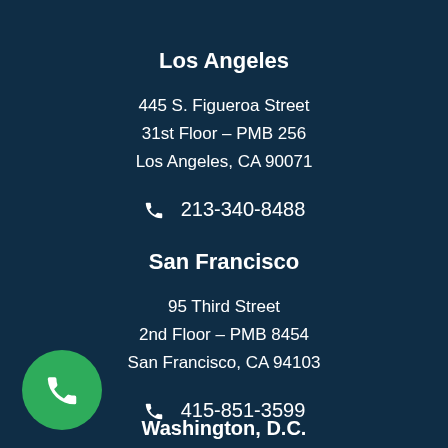Los Angeles
445 S. Figueroa Street
31st Floor – PMB 256
Los Angeles, CA 90071
213-340-8488
San Francisco
95 Third Street
2nd Floor – PMB 8454
San Francisco, CA 94103
415-851-3599
Washington, D.C.